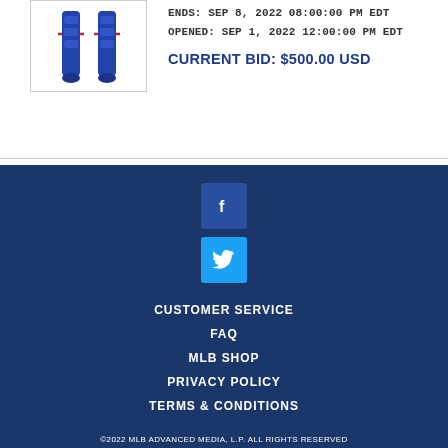[Figure (photo): Blue baseball catcher's shin guards with red accents standing upright]
ENDS: SEP 8, 2022 08:00:00 PM EDT
OPENED: SEP 1, 2022 12:00:00 PM EDT
CURRENT BID: $500.00 USD
1  2  3  4  5  ...8  Next
[Figure (logo): Facebook icon (white f on dark blue background)]
[Figure (logo): Twitter bird icon (white bird on blue background)]
CUSTOMER SERVICE
FAQ
MLB SHOP
PRIVACY POLICY
TERMS & CONDITIONS
©2022 MLB ADVANCED MEDIA, L.P. ALL RIGHTS RESERVED